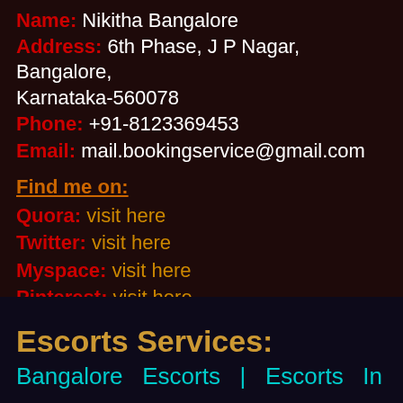Name: Nikitha Bangalore
Address: 6th Phase, J P Nagar, Bangalore, Karnataka-560078
Phone: +91-8123369453
Email: mail.bookingservice@gmail.com
Find me on:
Quora: visit here
Twitter: visit here
Myspace: visit here
Pinterest: visit here
Youtube: visit here
Escorts Services:
Bangalore Escorts | Escorts In